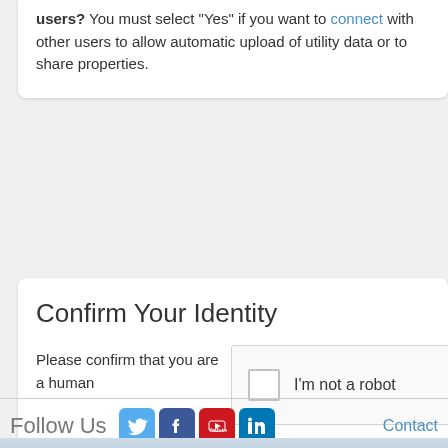users? You must select "Yes" if you want to connect with other users to allow automatic upload of utility data or to share properties.
Confirm Your Identity
Please confirm that you are a human
[Figure (screenshot): reCAPTCHA checkbox widget with 'I'm not a robot' label]
Follow Us   Contact